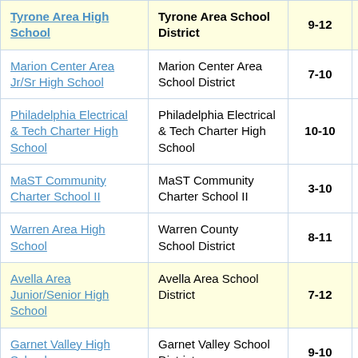| School | District | Grades | Col4 | Col5 |
| --- | --- | --- | --- | --- |
| Tyrone Area High School | Tyrone Area School District | 9-12 | 29.8 | … |
| Marion Center Area Jr/Sr High School | Marion Center Area School District | 7-10 | 1.3 | … |
| Philadelphia Electrical & Tech Charter High School | Philadelphia Electrical & Tech Charter High School | 10-10 | 1.2 | … |
| MaST Community Charter School II | MaST Community Charter School II | 3-10 | 1.4 | … |
| Warren Area High School | Warren County School District | 8-11 | 1.0 | … |
| Avella Area Junior/Senior High School | Avella Area School District | 7-12 | 2.0 | … |
| Garnet Valley High School | Garnet Valley School District | 9-10 | 0.7 | … |